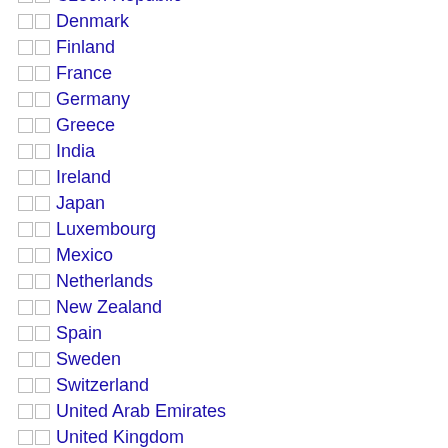Czech Republic
Denmark
Finland
France
Germany
Greece
India
Ireland
Japan
Luxembourg
Mexico
Netherlands
New Zealand
Spain
Sweden
Switzerland
United Arab Emirates
United Kingdom
United States